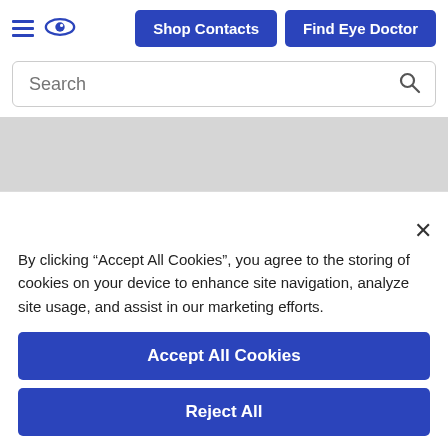[Figure (screenshot): Website navigation header with hamburger menu icon, eye logo icon, 'Shop Contacts' blue button, and 'Find Eye Doctor' blue button]
[Figure (screenshot): Search bar with placeholder text 'Search' and magnifying glass icon]
[Figure (screenshot): Gray banner/image placeholder band]
By clicking “Accept All Cookies”, you agree to the storing of cookies on your device to enhance site navigation, analyze site usage, and assist in our marketing efforts.
Accept All Cookies
Reject All
Cookies Settings